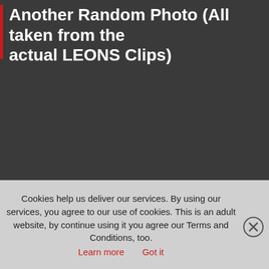Another Random Photo (All taken from the actual LEONS Clips)
[Figure (screenshot): Dark gray background area representing a photo/video content area from LEONS Clips, with a red button in the bottom right corner]
Cookies help us deliver our services. By using our services, you agree to our use of cookies. This is an adult website, by continue using it you agree our Terms and Conditions, too. Learn more Got it